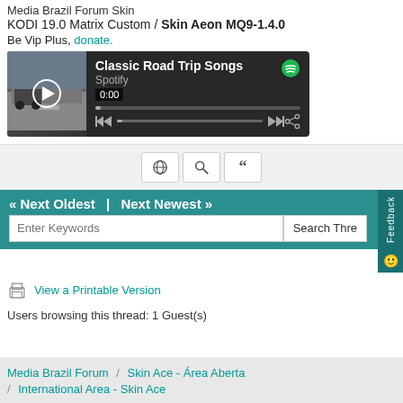Media Brazil Forum Skin
KODI 19.0 Matrix Custom / Skin Aeon MQ9-1.4.0
Be Vip Plus, donate.
[Figure (screenshot): Spotify embedded player showing Classic Road Trip Songs playlist with play button, progress bar showing 0:00, skip controls, and share icon on dark background]
[Figure (screenshot): Toolbar with three buttons: globe icon, search icon, and quote/blockquote icon]
« Next Oldest  |  Next Newest »
Enter Keywords / Search Threads input area
View a Printable Version
Users browsing this thread: 1 Guest(s)
Media Brazil Forum / Skin Ace - Área Aberta / International Area - Skin Ace